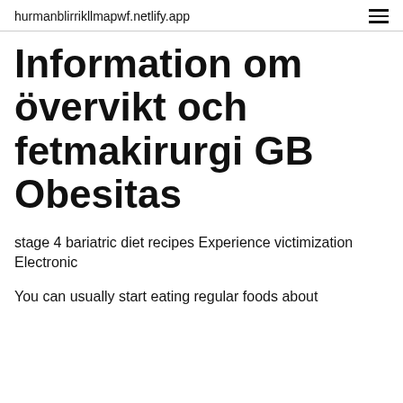hurmanblirrikllmapwf.netlify.app
Information om övervikt och fetmakirurgi GB Obesitas
stage 4 bariatric diet recipes Experience victimization Electronic
You can usually start eating regular foods about